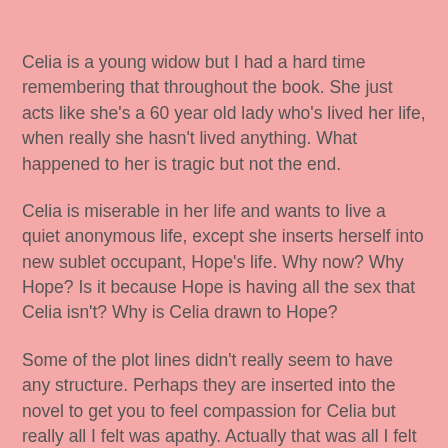Celia is a young widow but I had a hard time remembering that throughout the book. She just acts like she's a 60 year old lady who's lived her life, when really she hasn't lived anything. What happened to her is tragic but not the end.
Celia is miserable in her life and wants to live a quiet anonymous life, except she inserts herself into new sublet occupant, Hope's life. Why now? Why Hope? Is it because Hope is having all the sex that Celia isn't? Why is Celia drawn to Hope?
Some of the plot lines didn't really seem to have any structure. Perhaps they are inserted into the novel to get you to feel compassion for Celia but really all I felt was apathy. Actually that was all I felt throughout the whole book. That and I just wanted to know what the awful thing that Celia did was exactly. Meant to be the climax of the novel, it was a blip. I pretty much guess it earlier in the book and didn't think it was that big of a deal. It's not the first time it's been used in a novel or occurred in real life.